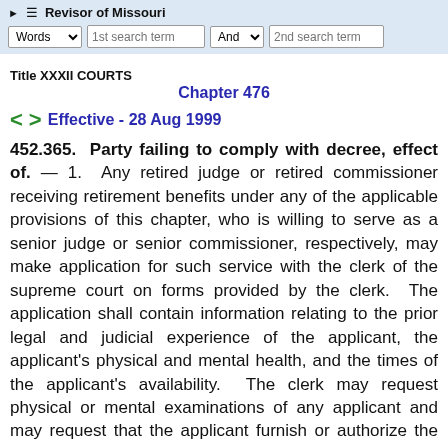Revisor of Missouri
Title XXXII COURTS
Chapter 476
Effective - 28 Aug 1999
452.365. Party failing to comply with decree, effect of. — 1. Any retired judge or retired commissioner receiving retirement benefits under any of the applicable provisions of this chapter, who is willing to serve as a senior judge or senior commissioner, respectively, may make application for such service with the clerk of the supreme court on forms provided by the clerk. The application shall contain information relating to the prior legal and judicial experience of the applicant, the applicant's physical and mental health, and the times of the applicant's availability. The clerk may request physical or mental examinations of any applicant and may request that the applicant furnish or authorize the furnishing of any relevant medical or other health